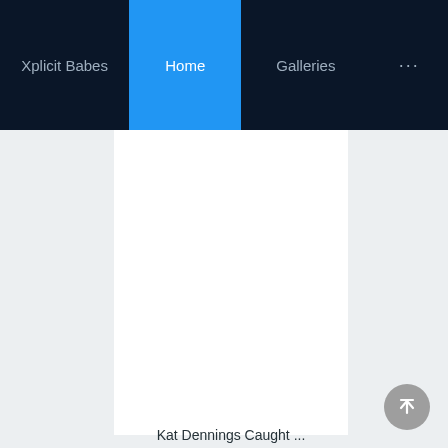Xplicit Babes  Home  Galleries  ...
[Figure (screenshot): White content card area, blank image placeholder on a light gray background]
Kat Dennings Caught ...